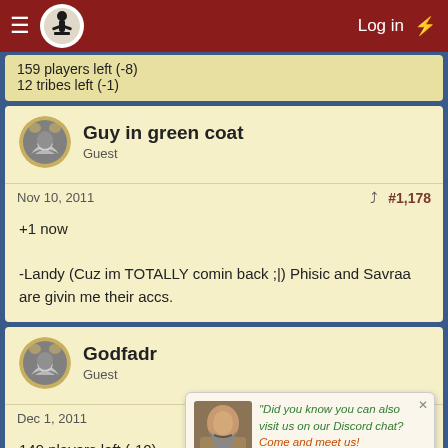Log in
159 players left (-8)
12 tribes left (-1)
Guy in green coat
Guest
Nov 10, 2011  #1,178
+1 now

-Landy (Cuz im TOTALLY comin back ;|) Phisic and Savraa are givin me their accs.
Godfadr
Guest
Dec 1, 2011  #1,179
149 players left (-10)
12 tribes left (-0)
Did you know you can also visit us on our Discord chat? Come and meet us!